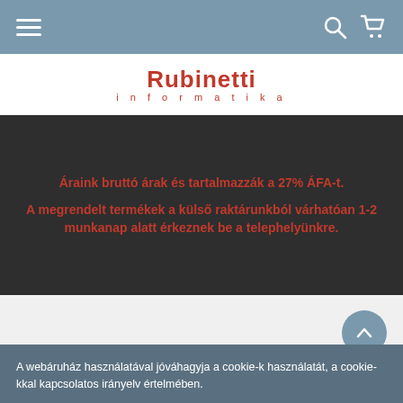Navigation bar with hamburger menu, search and cart icons
[Figure (logo): Rubinetti informatika logo in red text]
Áraink bruttó árak és tartalmazzák a 27% ÁFA-t.

A megrendelt termékek a külső raktárunkból várhatóan 1-2 munkanap alatt érkeznek be a telephelyünkre.
A webáruház használatával jóváhagyja a cookie-k használatát, a cookie-kkal kapcsolatos irányelv értelmében.
Beállítások módosítása    ELFOGADOM